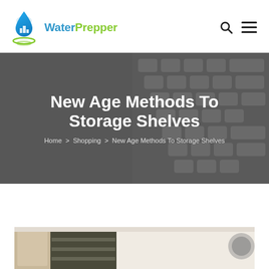WaterPrepper
New Age Methods To Storage Shelves
Home > Shopping > New Age Methods To Storage Shelves
[Figure (photo): Partial view of storage shelves photo at the bottom of the page]